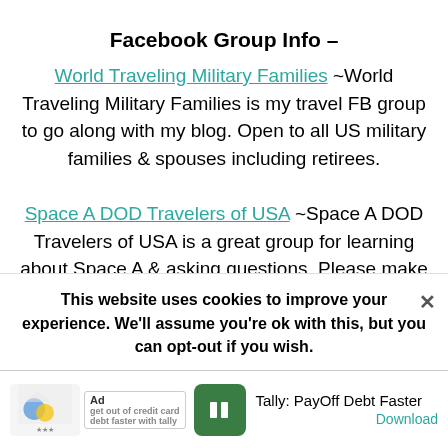Facebook Group Info –
World Traveling Military Families ~World Traveling Military Families is my travel FB group to go along with my blog. Open to all US military families & spouses including retirees.
Space A DOD Travelers of USA ~Space A DOD Travelers of USA is a great group for learning about Space A & asking questions. Please make sure to read the pinned post before posting questions.
This website uses cookies to improve your experience. We'll assume you're ok with this, but you can opt-out if you wish.
[Figure (screenshot): Ad banner for Tally: PayOff Debt Faster app with green icon showing double bar lines]